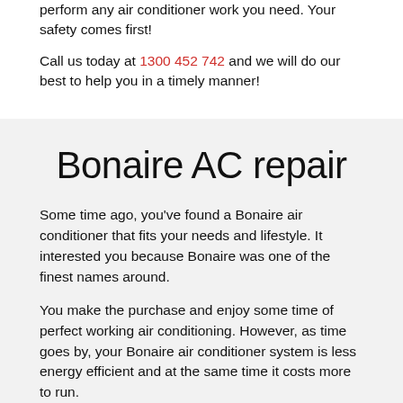perform any air conditioner work you need. Your safety comes first!
Call us today at 1300 452 742 and we will do our best to help you in a timely manner!
Bonaire AC repair
Some time ago, you've found a Bonaire air conditioner that fits your needs and lifestyle. It interested you because Bonaire was one of the finest names around.
You make the purchase and enjoy some time of perfect working air conditioning. However, as time goes by, your Bonaire air conditioner system is less energy efficient and at the same time it costs more to run.